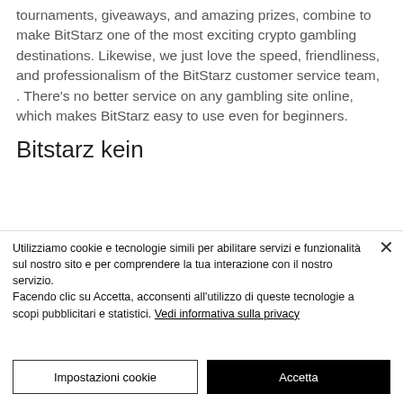tournaments, giveaways, and amazing prizes, combine to make BitStarz one of the most exciting crypto gambling destinations. Likewise, we just love the speed, friendliness, and professionalism of the BitStarz customer service team, . There's no better service on any gambling site online, which makes BitStarz easy to use even for beginners.
Bitstarz kein
Utilizziamo cookie e tecnologie simili per abilitare servizi e funzionalità sul nostro sito e per comprendere la tua interazione con il nostro servizio. Facendo clic su Accetta, acconsenti all'utilizzo di queste tecnologie a scopi pubblicitari e statistici. Vedi informativa sulla privacy